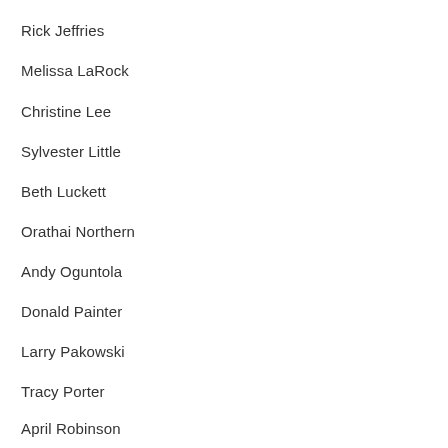Rick Jeffries
Melissa LaRock
Christine Lee
Sylvester Little
Beth Luckett
Orathai Northern
Andy Oguntola
Donald Painter
Larry Pakowski
Tracy Porter
April Robinson